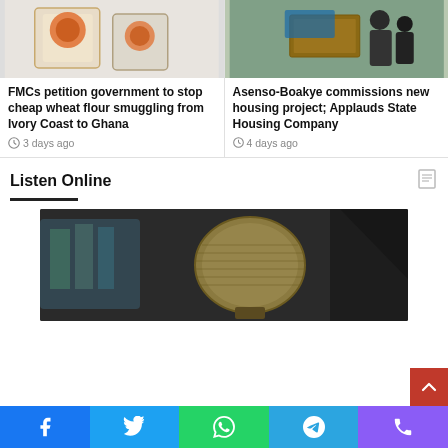[Figure (photo): Bags of flour product, Abosso Flour Mills Ltd.]
FMCs petition government to stop cheap wheat flour smuggling from Ivory Coast to Ghana
3 days ago
[Figure (photo): Man unveiling a plaque at a housing project commissioning ceremony]
Asenso-Boakye commissions new housing project; Applauds State Housing Company
4 days ago
Listen Online
[Figure (photo): Close-up of a gold/bronze studio microphone in a radio studio setting]